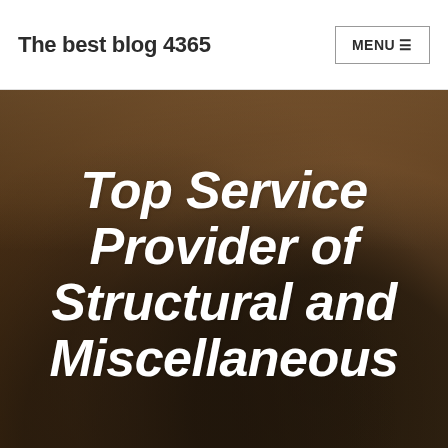The best blog 4365
Top Service Provider of Structural and Miscellaneous
[Figure (photo): A leopard lying on sandy/dirt ground, photographed from the front, with spotted coat visible. The image serves as a hero background image for a blog post.]